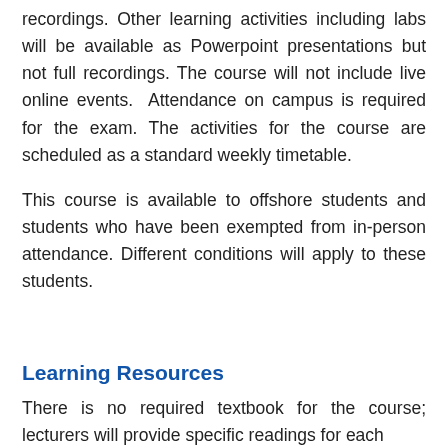recordings. Other learning activities including labs will be available as Powerpoint presentations but not full recordings. The course will not include live online events. Attendance on campus is required for the exam. The activities for the course are scheduled as a standard weekly timetable.
This course is available to offshore students and students who have been exempted from in-person attendance. Different conditions will apply to these students.
Learning Resources
There is no required textbook for the course; lecturers will provide specific readings for each